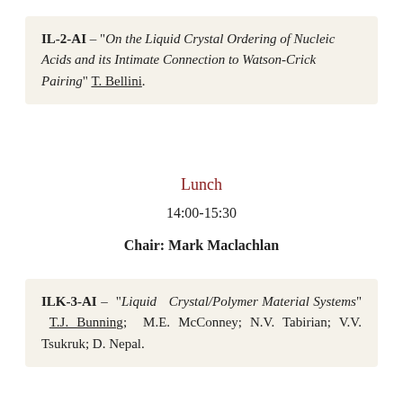IL-2-AI – "On the Liquid Crystal Ordering of Nucleic Acids and its Intimate Connection to Watson-Crick Pairing" T. Bellini.
Lunch
14:00-15:30
Chair: Mark Maclachlan
ILK-3-AI – "Liquid Crystal/Polymer Material Systems" T.J. Bunning; M.E. McConney; N.V. Tabirian; V.V. Tsukruk; D. Nepal.